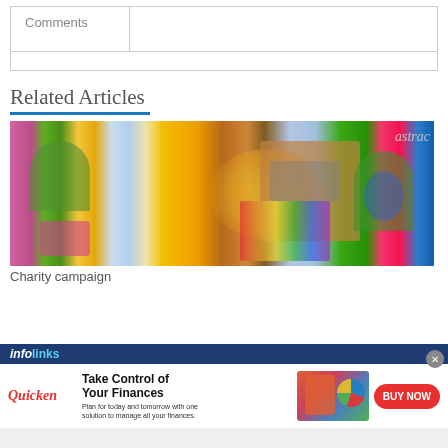| Comments |  |
| --- | --- |
|  |
Related Articles
[Figure (photo): A charity campaign display in a shopping mall with colorful decorations, flowers including sunflowers, a cardboard booth, and a store sign reading 'astrac' in the background.]
Charity campaign
[Figure (infographic): An advertisement banner by Infolinks for Quicken finance software, showing the text 'Take Control of Your Finances', a woman working on a laptop, a pie chart graphic, and a red 'BUY NOW' button.]